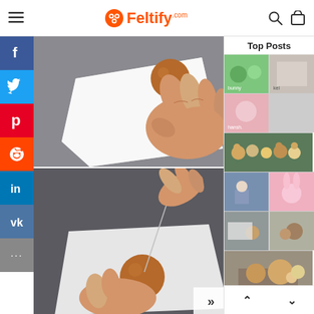Feltify.com
[Figure (screenshot): Website screenshot of Feltify.com showing a needle felting tutorial with social share sidebar (Facebook, Twitter, Pinterest, Reddit, LinkedIn, VK), main content images showing hands felting wool, and a Top Posts sidebar with thumbnail images of felt crafts.]